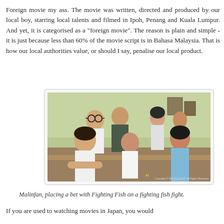Foreign movie my ass. The movie was written, directed and produced by our local boy, starring local talents and filmed in Ipoh, Penang and Kuala Lumpur. And yet, it is categorised as a "foreign movie". The reason is plain and simple - it is just because less than 60% of the movie script is in Bahasa Malaysia. That is how our local authorities value, or should I say, penalise our local product.
[Figure (photo): Group photo of cast members from the movie Fighting Fish, showing several young actors and actresses seated and standing together in what appears to be an indoor setting with green walls.]
Malinfan, placing a bet with Fighting Fish on a fighting fish fight.
If you are used to watching movies in Japan, you would